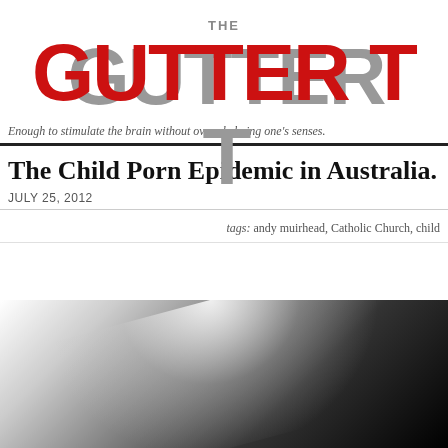THE GUTTER T
Enough to stimulate the brain without overwhelming one's senses.
The Child Porn Epidemic in Australia.
JULY 25, 2012
tags: andy muirhead, Catholic Church, child
[Figure (photo): Dark dramatic photo with strong light beam or spotlight effect against black background, partial silhouette visible at bottom]